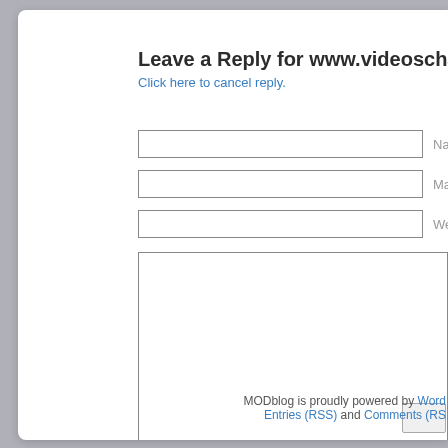Leave a Reply for www.videoschaudes.c
Click here to cancel reply.
Name
Mail (will not be publish
Website
MODblog is proudly powered by Word Entries (RSS) and Comments (RS